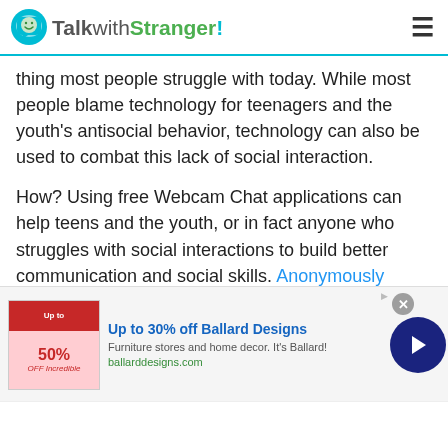TalkwithStranger!
thing most people struggle with today. While most people blame technology for teenagers and the youth's antisocial behavior, technology can also be used to combat this lack of social interaction.
How? Using free Webcam Chat applications can help teens and the youth, or in fact anyone who struggles with social interactions to build better communication and social skills. Anonymously chatting with strangers can help you interact without the fear of being judged which helps build stronger social skills that are necessary in today's world. This means by interacting on a digital
[Figure (screenshot): Advertisement banner for Ballard Designs: Up to 30% off Ballard Designs. Furniture stores and home decor. It's Ballard! ballarddesigns.com]
[Figure (other): Scroll to top button (up arrow) with teal/cyan background, and close button for ad]